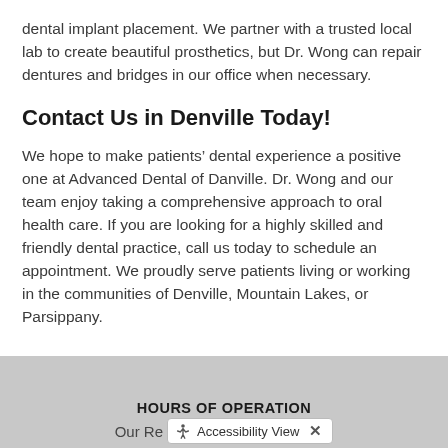dental implant placement. We partner with a trusted local lab to create beautiful prosthetics, but Dr. Wong can repair dentures and bridges in our office when necessary.
Contact Us in Denville Today!
We hope to make patients’ dental experience a positive one at Advanced Dental of Danville. Dr. Wong and our team enjoy taking a comprehensive approach to oral health care. If you are looking for a highly skilled and friendly dental practice, call us today to schedule an appointment. We proudly serve patients living or working in the communities of Denville, Mountain Lakes, or Parsippany.
HOURS OF OPERATION
Our Re[Accessibility View]